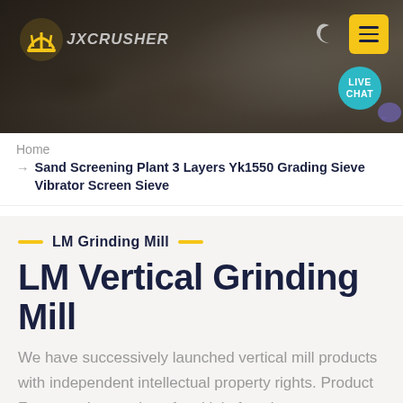[Figure (photo): Construction/mining site header image with crusher machinery, rocky background, logo 'JXCRUSHER' on left, moon/dark mode icon and yellow hamburger menu button on top right, teal LIVE CHAT circle bubble on lower right]
Home
→ Sand Screening Plant 3 Layers Yk1550 Grading Sieve Vibrator Screen Sieve
LM Grinding Mill
LM Vertical Grinding Mill
We have successively launched vertical mill products with independent intellectual property rights. Product Features: Integration of multiple functions, more stable and reliable